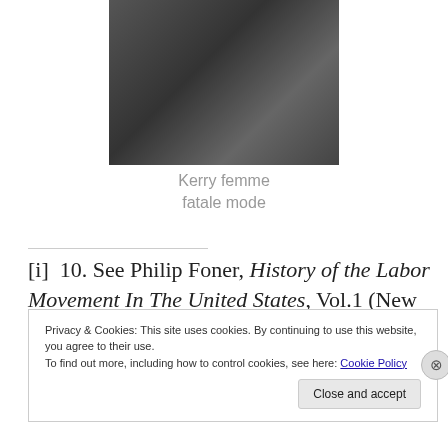[Figure (photo): A photo of a person in dark clothing, partially visible, cropped at the top of the page]
Kerry femme fatale mode
[i]  10. See Philip Foner, History of the Labor Movement In The United States, Vol.1 (New York: International Publishers, 1947), 163-64. Foner was discussing the Whig pretense that their party served the
Privacy & Cookies: This site uses cookies. By continuing to use this website, you agree to their use.
To find out more, including how to control cookies, see here: Cookie Policy
Close and accept